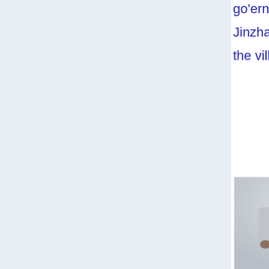go'ernment... Jinzhang got the village sh...
[Figure (photo): A man in a gray suit jacket standing, photographed from approximately waist up, against a light gray background.]